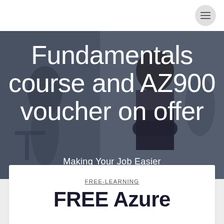[Figure (screenshot): Navigation bar with hamburger menu button (three horizontal lines) in a circular grey button on the right side, white background]
[Figure (photo): Hero background image showing a professional woman in a dark blazer with arms crossed, and people in a meeting/classroom setting in the background, overlaid with dark semi-transparent overlay]
Fundamentals course and AZ900 voucher on offer
Making Your Job Easier
FREE-LEARNING
FREE Azure